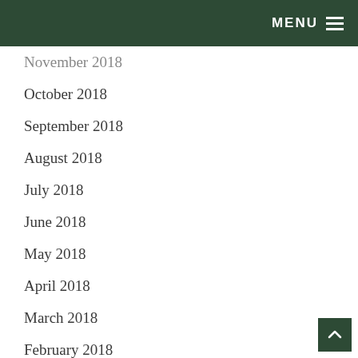MENU
November 2018
October 2018
September 2018
August 2018
July 2018
June 2018
May 2018
April 2018
March 2018
February 2018
January 2018
December 2017
November 2017
October 2017
September 2017
August 2017